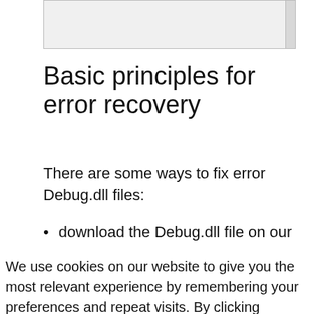[Figure (screenshot): Search input box with scrollbar on the right side]
Basic principles for error recovery
There are some ways to fix error Debug.dll files:
download the Debug.dll file on our
We use cookies on our website to give you the most relevant experience by remembering your preferences and repeat visits. By clicking “Accept All”, you consent to the use of ALL the cookies. However, you may visit "Cookie Settings" to provide a controlled consent.
Privacy Policy   Cookie Settings   Accept All